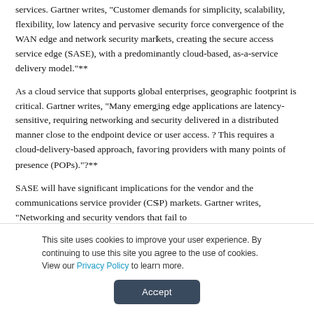services. Gartner writes, “Customer demands for simplicity, scalability, flexibility, low latency and pervasive security force convergence of the WAN edge and network security markets, creating the secure access service edge (SASE), with a predominantly cloud-based, as-a-service delivery model.”**
As a cloud service that supports global enterprises, geographic footprint is critical. Gartner writes, “Many emerging edge applications are latency-sensitive, requiring networking and security delivered in a distributed manner close to the endpoint device or user access. ? This requires a cloud-delivery-based approach, favoring providers with many points of presence (POPs).”?**
SASE will have significant implications for the vendor and the communications service provider (CSP) markets. Gartner writes, “Networking and security vendors that fail to...
This site uses cookies to improve your user experience. By continuing to use this site you agree to the use of cookies. View our Privacy Policy to learn more.